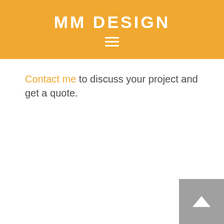MM DESIGN
[Figure (other): Hamburger menu icon with three horizontal white lines]
Contact me to discuss your project and get a quote.